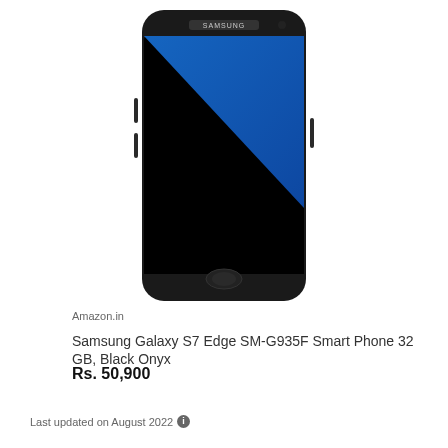[Figure (photo): Samsung Galaxy S7 Edge smartphone in Black Onyx color, shown from the front against a white background. Device has a curved edge screen showing a blue gradient display, and features the Samsung logo at the top.]
Amazon.in
Samsung Galaxy S7 Edge SM-G935F Smart Phone 32 GB, Black Onyx
Rs. 50,900
Last updated on August 2022